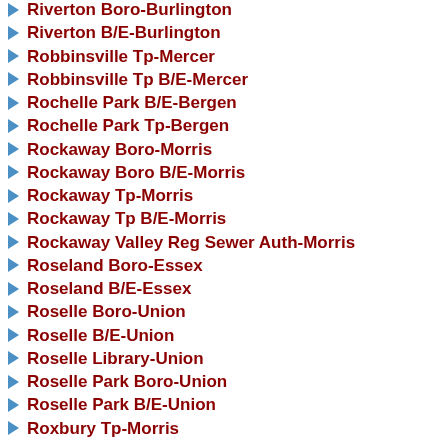Riverton Boro-Burlington
Riverton B/E-Burlington
Robbinsville Tp-Mercer
Robbinsville Tp B/E-Mercer
Rochelle Park B/E-Bergen
Rochelle Park Tp-Bergen
Rockaway Boro-Morris
Rockaway Boro B/E-Morris
Rockaway Tp-Morris
Rockaway Tp B/E-Morris
Rockaway Valley Reg Sewer Auth-Morris
Roseland Boro-Essex
Roseland B/E-Essex
Roselle Boro-Union
Roselle B/E-Union
Roselle Library-Union
Roselle Park Boro-Union
Roselle Park B/E-Union
Roxbury Tp-Morris